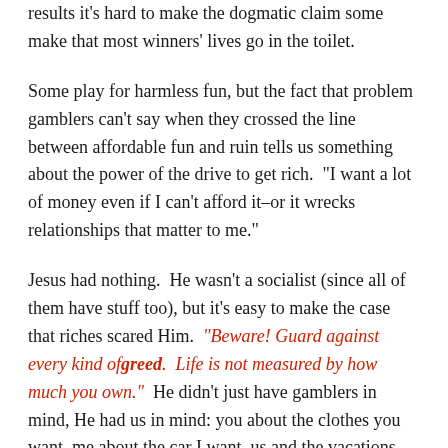results it's hard to make the dogmatic claim some make that most winners' lives go in the toilet.
Some play for harmless fun, but the fact that problem gamblers can't say when they crossed the line between affordable fun and ruin tells us something about the power of the drive to get rich.  "I want a lot of money even if I can't afford it–or it wrecks relationships that matter to me."
Jesus had nothing.  He wasn't a socialist (since all of them have stuff too), but it's easy to make the case that riches scared Him.  "Beware! Guard against every kind of greed.  Life is not measured by how much you own."  He didn't just have gamblers in mind, He had us in mind: you about the clothes you want, me about the car I want, us and the vacations we dream of, the retirement funds we hope to hoard, and the portion of income we are determined to keep versus the portion we're